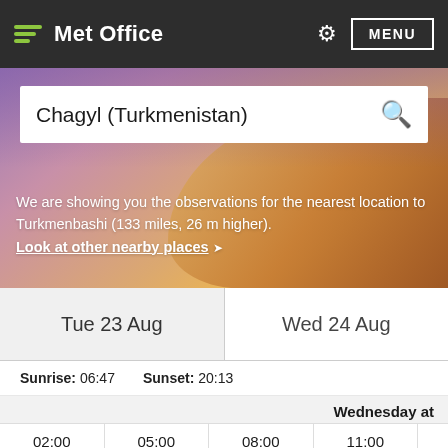Met Office
Chagyl (Turkmenistan)
We are showing you the observations for the nearest location to Turkmenbashi (133 miles, 26 m higher). Look at other nearby places
Tue 23 Aug
Wed 24 Aug
Sunrise: 06:47  Sunset: 20:13
Wednesday at
02:00  05:00  08:00  11:00